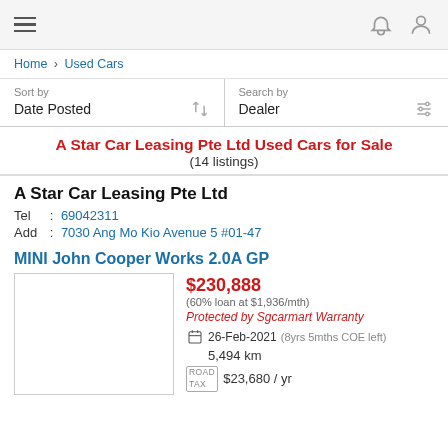Navigation bar with hamburger menu, bell icon, and user icon
Home > Used Cars
Sort by: Date Posted | Search by: Dealer
A Star Car Leasing Pte Ltd Used Cars for Sale (14 listings)
A Star Car Leasing Pte Ltd
Tel : 69042311
Add : 7030 Ang Mo Kio Avenue 5 #01-47
MINI John Cooper Works 2.0A GP
$230,888
(60% loan at $1,936/mth)
Protected by Sgcarmart Warranty
26-Feb-2021 (8yrs 5mths COE left)
5,494 km
$23,680 / yr